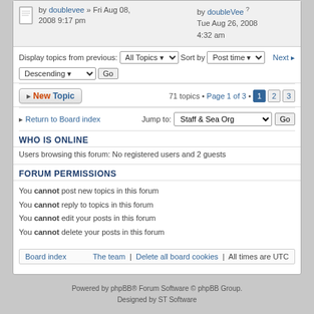by doublevee » Fri Aug 08, 2008 9:17 pm
by doubleVee Tue Aug 26, 2008 4:32 am
Display topics from previous: All Topics ▼ Sort by Post time ▼ Next ▶
Descending ▼ Go
New Topic • 71 topics • Page 1 of 3 • 1 2 3
Return to Board index — Jump to: Staff & Sea Org — Go
WHO IS ONLINE
Users browsing this forum: No registered users and 2 guests
FORUM PERMISSIONS
You cannot post new topics in this forum
You cannot reply to topics in this forum
You cannot edit your posts in this forum
You cannot delete your posts in this forum
Board index | The team | Delete all board cookies | All times are UTC
Powered by phpBB® Forum Software © phpBB Group. Designed by ST Software